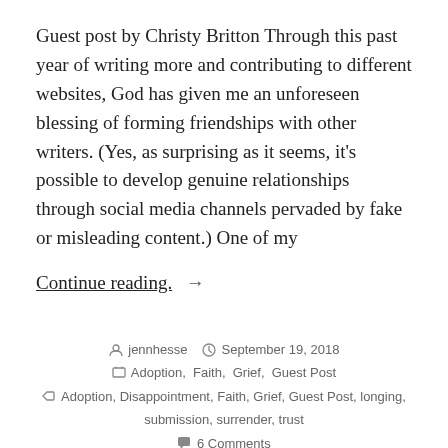Guest post by Christy Britton Through this past year of writing more and contributing to different websites, God has given me an unforeseen blessing of forming friendships with other writers. (Yes, as surprising as it seems, it's possible to develop genuine relationships through social media channels pervaded by fake or misleading content.) One of my
Continue reading.  →
jennhesse   September 19, 2018   Adoption, Faith, Grief, Guest Post   Adoption, Disappointment, Faith, Grief, Guest Post, longing, submission, surrender, trust   6 Comments